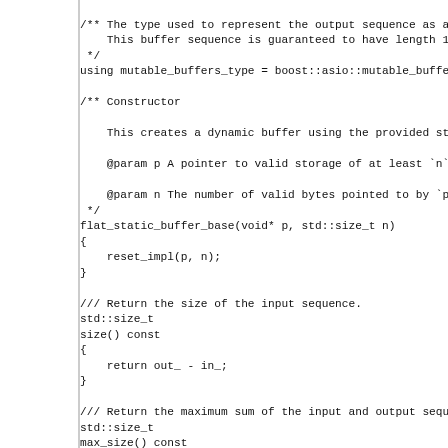/** The type used to represent the output sequence as a
    This buffer sequence is guaranteed to have length 1
 */
using mutable_buffers_type = boost::asio::mutable_buffe

/** Constructor

    This creates a dynamic buffer using the provided st

    @param p A pointer to valid storage of at least `n`

    @param n The number of valid bytes pointed to by `p
 */
flat_static_buffer_base(void* p, std::size_t n)
{
    reset_impl(p, n);
}

/// Return the size of the input sequence.
std::size_t
size() const
{
    return out_ - in_;
}

/// Return the maximum sum of the input and output sequ
std::size_t
max_size() const
{
    return dist(begin_, end_);
}

/// Return the maximum sum of input and output sizes th
std::size_t
capacity() const
{
    return max_size();